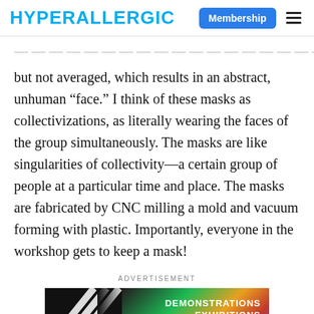HYPERALLERGIC | Membership
but not averaged, which results in an abstract, unhuman “face.” I think of these masks as collectivizations, as literally wearing the faces of the group simultaneously. The masks are like singularities of collectivity—a certain group of people at a particular time and place. The masks are fabricated by CNC milling a mold and vacuum forming with plastic. Importantly, everyone in the workshop gets to keep a mask!
ADVERTISEMENT
[Figure (other): Advertisement banner with diagonal stripes on the left and text reading DEMONSTRATIONS EXHIBITIONS on the right, with colorful gradient background]